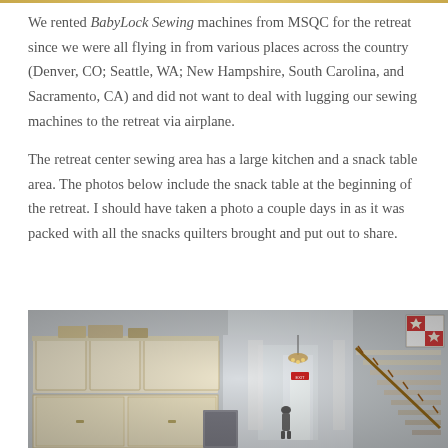We rented BabyLock Sewing machines from MSQC for the retreat since we were all flying in from various places across the country (Denver, CO; Seattle, WA; New Hampshire, South Carolina, and Sacramento, CA) and did not want to deal with lugging our sewing machines to the retreat via airplane.
The retreat center sewing area has a large kitchen and a snack table area. The photos below include the snack table at the beginning of the retreat. I should have taken a photo a couple days in as it was packed with all the snacks quilters brought and put out to share.
[Figure (photo): Interior photo of a retreat center showing a large kitchen area with white cabinets, a hallway with stairs, curtains, and a quilt hanging on the wall.]